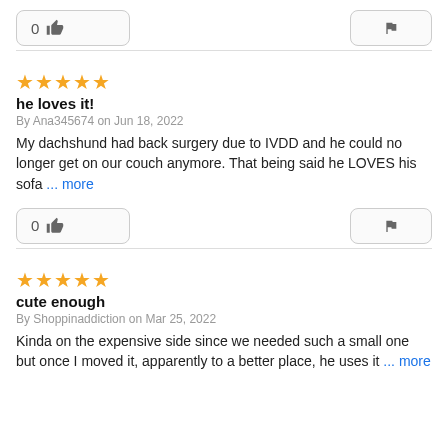[Figure (other): Like button showing 0 likes and a flag/report button]
he loves it!
★★★★★
By Ana345674 on Jun 18, 2022
My dachshund had back surgery due to IVDD and he could no longer get on our couch anymore. That being said he LOVES his sofa … more
[Figure (other): Like button showing 0 likes and a flag/report button]
cute enough
★★★★★
By Shoppinaddiction on Mar 25, 2022
Kinda on the expensive side since we needed such a small one but once I moved it, apparently to a better place, he uses it … more